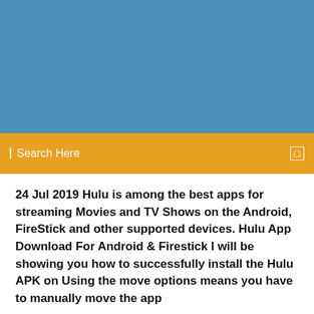[Figure (other): Blue header background banner area]
Search Here
24 Jul 2019 Hulu is among the best apps for streaming Movies and TV Shows on the Android, FireStick and other supported devices. Hulu App Download For Android & Firestick I will be showing you how to successfully install the Hulu APK on Using the move options means you have to manually move the app
11 Oct 2019 You can only download apps that are compatible